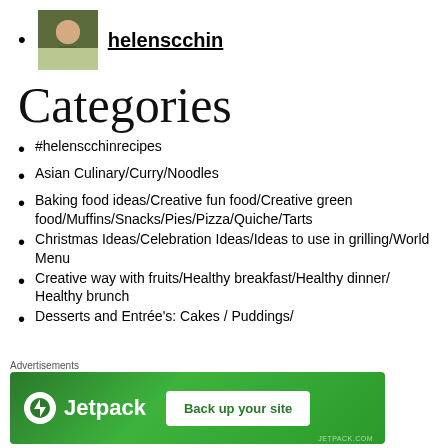helenscchin
Categories
#helenscchinrecipes
Asian Culinary/Curry/Noodles
Baking food ideas/Creative fun food/Creative green food/Muffins/Snacks/Pies/Pizza/Quiche/Tarts
Christmas Ideas/Celebration Ideas/Ideas to use in grilling/World Menu
Creative way with fruits/Healthy breakfast/Healthy dinner/ Healthy brunch
Desserts and Entrée's: Cakes / Puddings/
[Figure (screenshot): Jetpack advertisement banner with green background showing Jetpack logo and 'Back up your site' button]